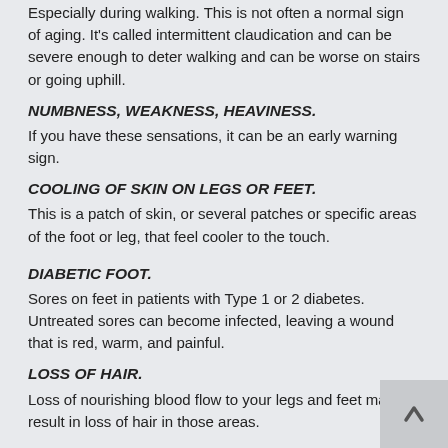Especially during walking. This is not often a normal sign of aging. It's called intermittent claudication and can be severe enough to deter walking and can be worse on stairs or going uphill.
NUMBNESS, WEAKNESS, HEAVINESS.
If you have these sensations, it can be an early warning sign.
COOLING OF SKIN ON LEGS OR FEET.
This is a patch of skin, or several patches or specific areas of the foot or leg, that feel cooler to the touch.
DIABETIC FOOT.
Sores on feet in patients with Type 1 or 2 diabetes. Untreated sores can become infected, leaving a wound that is red, warm, and painful.
LOSS OF HAIR.
Loss of nourishing blood flow to your legs and feet may result in loss of hair in those areas.
CHRONIC SORES.
Sores can be a common symptom of the skin. PAD can leave...